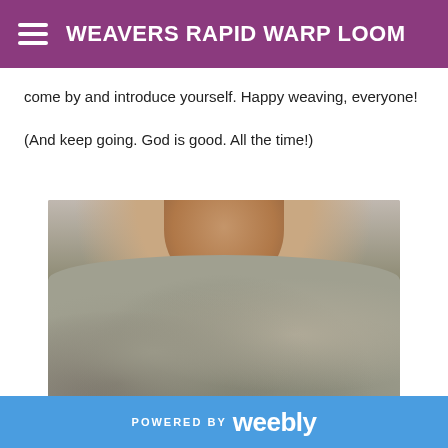WEAVERS RAPID WARP LOOM
come by and introduce yourself.  Happy weaving, everyone!
(And keep going.   God is good.   All the time!)
[Figure (photo): Close-up photo of a person wearing a handmade gray/beige knitted or crocheted cowl scarf around their neck and chin area.]
POWERED BY weebly